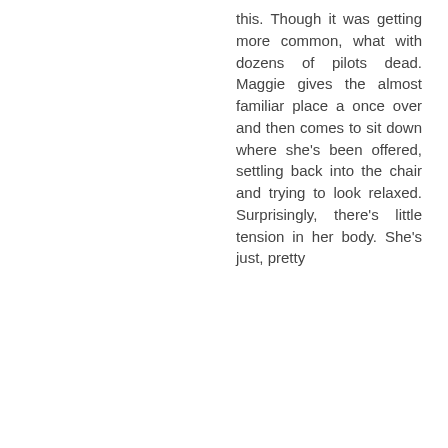this. Though it was getting more common, what with dozens of pilots dead. Maggie gives the almost familiar place a once over and then comes to sit down where she's been offered, settling back into the chair and trying to look relaxed. Surprisingly, there's little tension in her body. She's just, pretty